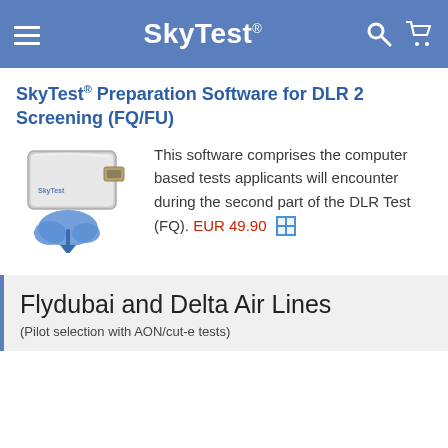SkyTest®
SkyTest® Preparation Software for DLR 2 Screening (FQ/FU)
[Figure (illustration): USB card drive and blue cloud download icon for SkyTest software]
This software comprises the computer based tests applicants will encounter during the second part of the DLR Test (FQ). EUR 49.90
Flydubai and Delta Air Lines
(Pilot selection with AON/cut-e tests)